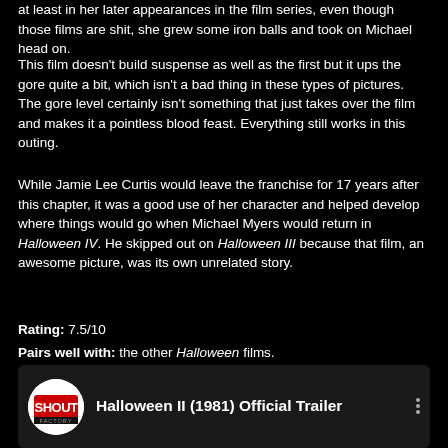at least in her later appearances in the film series, even though those films are shit, she grew some iron balls and took on Michael head on.
This film doesn't build suspense as well as the first but it ups the gore quite a bit, which isn't a bad thing in these types of pictures. The gore level certainly isn't something that just takes over the film and makes it a pointless blood feast. Everything still works in this outing.
While Jamie Lee Curtis would leave the franchise for 17 years after this chapter, it was a good use of her character and helped develop where things would go when Michael Myers would return in Halloween IV. He skipped out on Halloween III because that film, an awesome picture, was its own unrelated story.
Rating: 7.5/10
Pairs well with: the other Halloween films.
[Figure (screenshot): YouTube-style video card showing Shout Factory logo and title 'Halloween II (1981) Official Trailer' with three-dot menu icon, followed by a dark video thumbnail preview below]